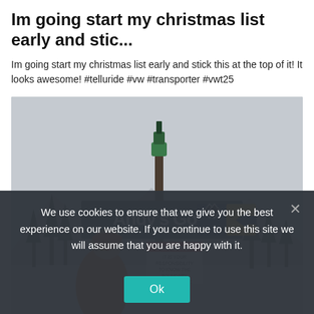Im going start my christmas list early and stic...
Im going start my christmas list early and stick this at the top of it! It looks awesome! #telluride #vw #transporter #vwt25
[Figure (photo): Person in orange ski jacket and yellow goggles standing in front of a ski trail sign reading 'Andy's Gold' with double black diamond symbols and an arrow, in a snowy mountain setting. A warning sign is visible below.]
We use cookies to ensure that we give you the best experience on our website. If you continue to use this site we will assume that you are happy with it.